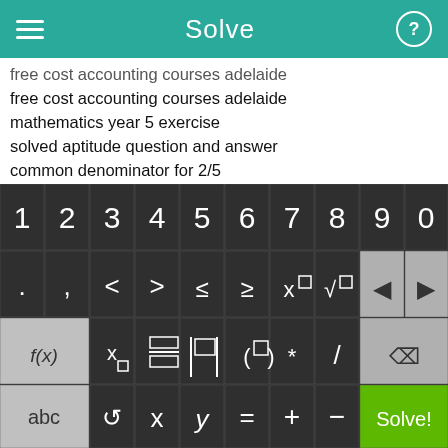Solve
free cost accounting courses adelaide
mathematics year 5 exercise
solved aptitude question and answer
common denominator for 2/5
how to find log inverse using a calculator
calculator math worksheet first grade
system of equation word problems with graphs
list of website for aptitude books download
matlab permutation combination
adding subtracting and multiplying integers practice sheets
[Figure (screenshot): Mobile math calculator keyboard with three rows: digits 1-9,0; symbols ., comma, <, >, ≤, ≥, x^□, √□, backspace arrows; and function keys f(x), x□, fraction, absolute value, parentheses, *, /; bottom row with abc, undo, x, y, =, +, -, and Solve! button]